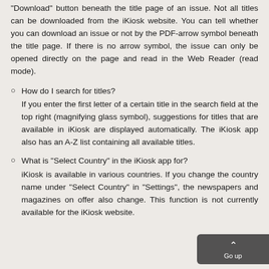"Download" button beneath the title page of an issue. Not all titles can be downloaded from the iKiosk website. You can tell whether you can download an issue or not by the PDF-arrow symbol beneath the title page. If there is no arrow symbol, the issue can only be opened directly on the page and read in the Web Reader (read mode).
How do I search for titles?
If you enter the first letter of a certain title in the search field at the top right (magnifying glass symbol), suggestions for titles that are available in iKiosk are displayed automatically. The iKiosk app also has an A-Z list containing all available titles.
What is “Select Country” in the iKiosk app for?
iKiosk is available in various countries. If you change the country name under “Select Country” in “Settings”, the newspapers and magazines on offer also change. This function is not currently available for the iKiosk website.